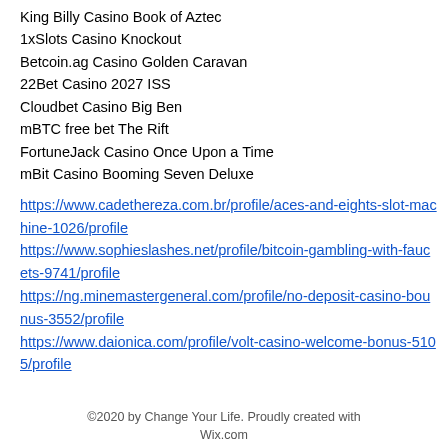King Billy Casino Book of Aztec
1xSlots Casino Knockout
Betcoin.ag Casino Golden Caravan
22Bet Casino 2027 ISS
Cloudbet Casino Big Ben
mBTC free bet The Rift
FortuneJack Casino Once Upon a Time
mBit Casino Booming Seven Deluxe
https://www.cadethereza.com.br/profile/aces-and-eights-slot-machine-1026/profile https://www.sophieslashes.net/profile/bitcoin-gambling-with-faucets-9741/profile https://ng.minemastergeneral.com/profile/no-deposit-casino-bounus-3552/profile https://www.daionica.com/profile/volt-casino-welcome-bonus-5105/profile
©2020 by Change Your Life. Proudly created with Wix.com